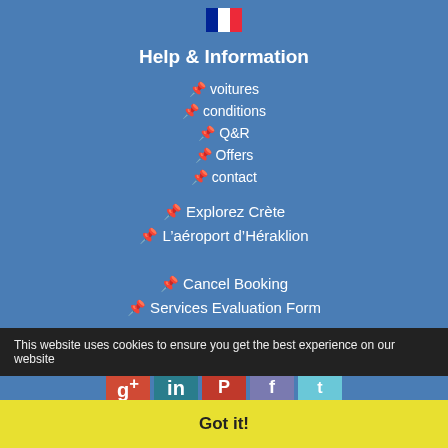[Figure (illustration): French flag icon at top center]
Help & Information
📌 voitures
📌 conditions
📌 Q&R
📌 Offers
📌 contact
📌 Explorez Crète
📌 L'aéroport d'Héraklion
📌 Cancel Booking
📌 Services Evaluation Form
Follow us and stay in touch:
[Figure (illustration): Social media icons: Google+, LinkedIn, Pinterest, Facebook, Twitter]
This website uses cookies to ensure you get the best experience on our website
Got it!
Do You Need Help?
Our team is here!